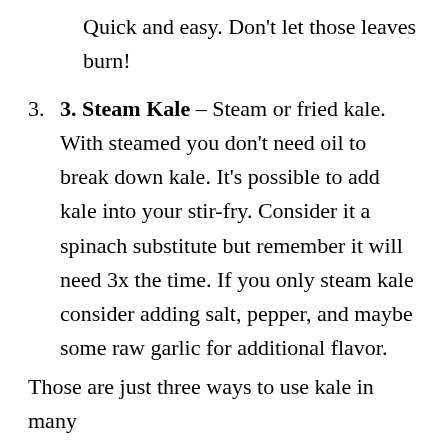Quick and easy. Don't let those leaves burn!
3. Steam Kale – Steam or fried kale. With steamed you don't need oil to break down kale. It's possible to add kale into your stir-fry. Consider it a spinach substitute but remember it will need 3x the time. If you only steam kale consider adding salt, pepper, and maybe some raw garlic for additional flavor.
Those are just three ways to use kale in many